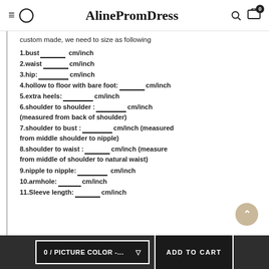≡ ⊙  AlinePromDress  🔍 🛒 0
custom made, we need to size as following
1.bust_______ cm/inch
2.waist_______cm/inch
3.hip:________cm/inch
4.hollow to floor with bare foot:_______cm/inch
5.extra heels:________cm/inch
6.shoulder to shoulder :________cm/inch (measured from back of shoulder)
7.shoulder to bust :_________cm/inch (measured from middle shoulder to nipple)
8.shoulder to waist :_______cm/inch (measure from middle of shoulder to natural waist)
9.nipple to nipple:_________ cm/inch
10.armhole:_____cm/inch
11.Sleeve length:_______cm/inch
0 / PICTURE COLOR -...  ADD TO CART